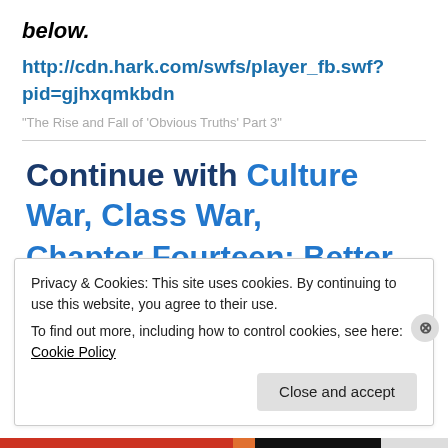below.
http://cdn.hark.com/swfs/player_fb.swf?pid=gjhxqmkbdn
"The Rise and Fall of 'Obvious Truths' Part 3"
Continue with Culture War, Class War, Chapter Fourteen: Better Off Than
Privacy & Cookies: This site uses cookies. By continuing to use this website, you agree to their use.
To find out more, including how to control cookies, see here: Cookie Policy
Close and accept